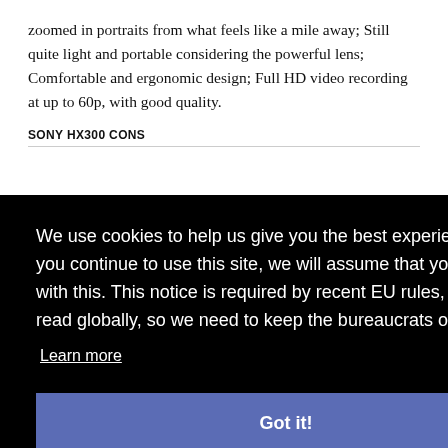zoomed in portraits from what feels like a mile away; Still quite light and portable considering the powerful lens; Comfortable and ergonomic design; Full HD video recording at up to 60p, with good quality.
SONY HX300 CONS
ers
erall.
We use cookies to help us give you the best experience on IR. If you continue to use this site, we will assume that you're happy with this. This notice is required by recent EU rules, and IR is read globally, so we need to keep the bureaucrats off our case!
Learn more
Got it!